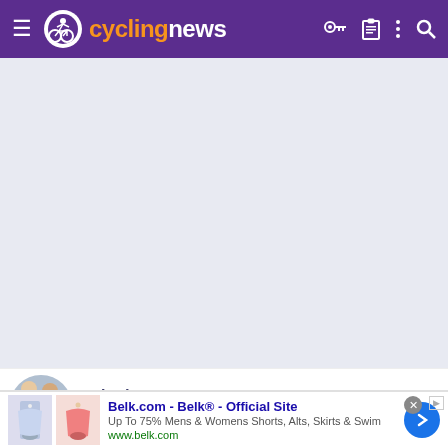cyclingnews
[Figure (screenshot): Empty content area with light gray/blue background]
tobydawq  Nov 16, 2013  16,936  11,297  28,180
[Figure (screenshot): Advertisement: Belk.com - Belk® - Official Site. Up To 75% Mens & Womens Shorts, Alts, Skirts & Swim. www.belk.com]